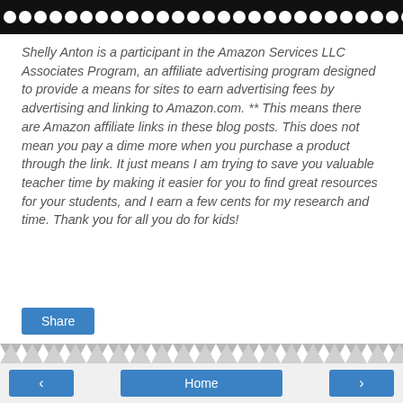[Figure (illustration): Black banner with white polka dots decorative border strip at top of page]
Shelly Anton is a participant in the Amazon Services LLC Associates Program, an affiliate advertising program designed to provide a means for sites to earn advertising fees by advertising and linking to Amazon.com. ** This means there are Amazon affiliate links in these blog posts. This does not mean you pay a dime more when you purchase a product through the link. It just means I am trying to save you valuable teacher time by making it easier for you to find great resources for your students, and I earn a few cents for my research and time. Thank you for all you do for kids!
[Figure (other): Blue Share button]
[Figure (other): Diagonal chevron/zigzag gray stripe decorative divider]
< Home >